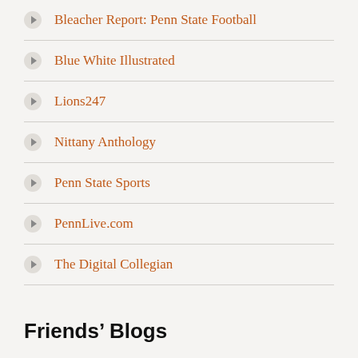Bleacher Report: Penn State Football
Blue White Illustrated
Lions247
Nittany Anthology
Penn State Sports
PennLive.com
The Digital Collegian
Friends' Blogs